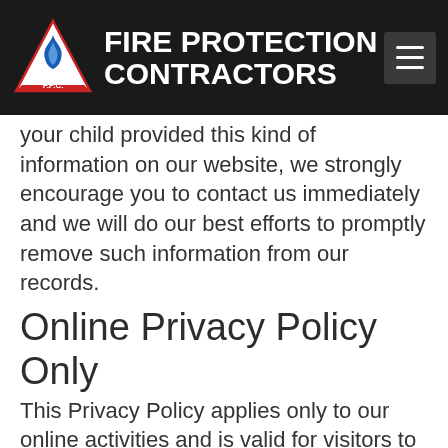FIRE PROTECTION CONTRACTORS
your child provided this kind of information on our website, we strongly encourage you to contact us immediately and we will do our best efforts to promptly remove such information from our records.
Online Privacy Policy Only
This Privacy Policy applies only to our online activities and is valid for visitors to our website with regards to the information that they shared and/or collect in Fire Protection Contractors. This policy is not applicable to any information collected offline or via channels other than this website.